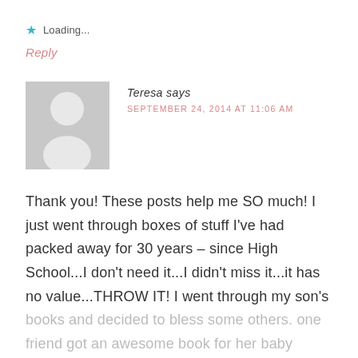★ Loading...
Reply
[Figure (illustration): Default gray avatar silhouette image for user Teresa]
Teresa says
SEPTEMBER 24, 2014 AT 11:06 AM
Thank you! These posts help me SO much! I just went through boxes of stuff I've had packed away for 30 years – since High School...I don't need it...I didn't miss it...it has no value...THROW IT! I went through my son's
books and decided to bless some others. one friend got an awesome book for her baby